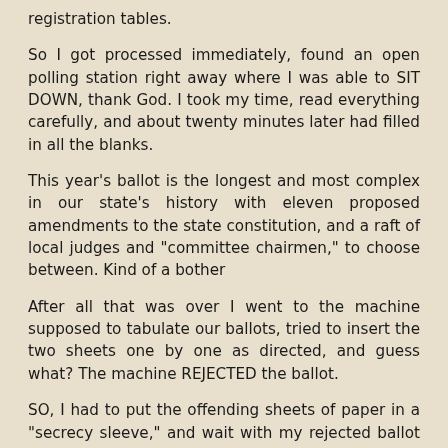registration tables.
So I got processed immediately, found an open polling station right away where I was able to SIT DOWN, thank God. I took my time, read everything carefully, and about twenty minutes later had filled in all the blanks.
This year's ballot is the longest and most complex in our state's history with eleven proposed amendments to the state constitution, and a raft of local judges and "committee chairmen," to choose between. Kind of a bother
After all that was over I went to the machine supposed to tabulate our ballots, tried to insert the two sheets one by one as directed, and guess what? The machine REJECTED the ballot.
SO, I had to put the offending sheets of paper in a "secrecy sleeve," and wait with my rejected ballot till someone could come and repair the machine.
Fortunately, luck was with me, and this only took about